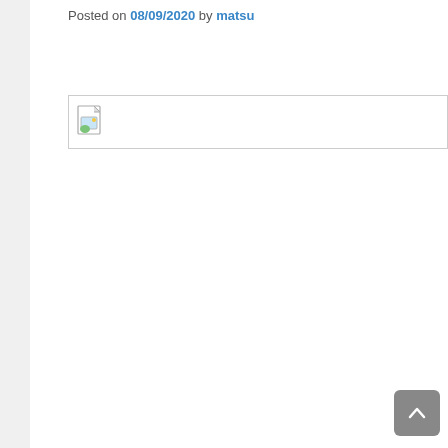Posted on 08/09/2020 by matsu
[Figure (other): Broken/missing image placeholder inside a bordered box]
[Figure (other): Scroll-to-top button with upward chevron arrow, gray rounded rectangle]